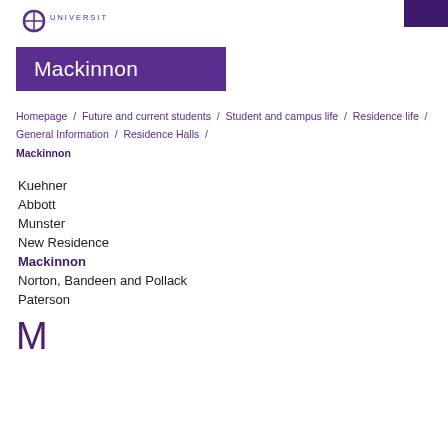UNIVERSITY
Mackinnon
Homepage / Future and current students / Student and campus life / Residence life / General Information / Residence Halls / Mackinnon
Kuehner
Abbott
Munster
New Residence
Mackinnon
Norton, Bandeen and Pollack
Paterson
Mackinnon